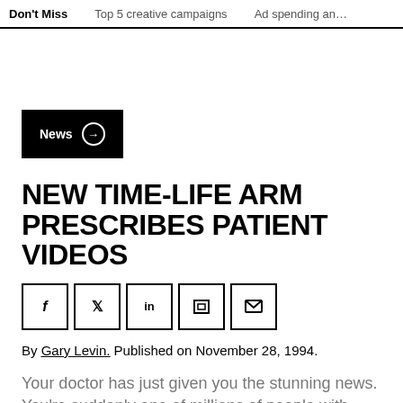Don't Miss  Top 5 creative campaigns  Ad spending an…
News →
NEW TIME-LIFE ARM PRESCRIBES PATIENT VIDEOS
By Gary Levin. Published on November 28, 1994.
Your doctor has just given you the stunning news. You're suddenly one of millions of people with…